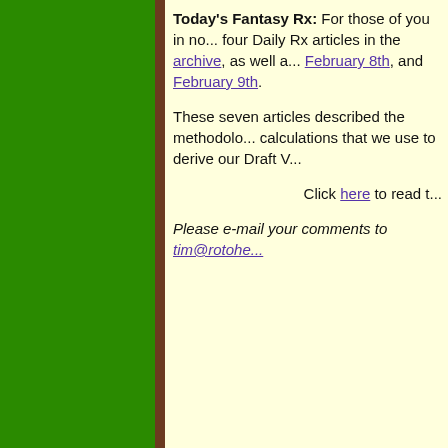Today's Fantasy Rx: For those of you in no... four Daily Rx articles in the archive, as well as February 8th, and February 9th.
These seven articles described the methodology and calculations that we use to derive our Draft V...
Click here to read t...
Please e-mail your comments to tim@rotohe...